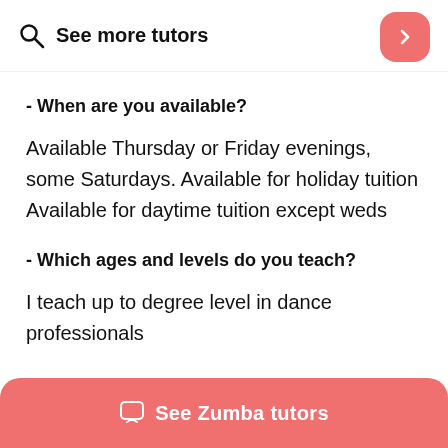See more tutors
- When are you available?
Available Thursday or Friday evenings, some Saturdays. Available for holiday tuition Available for daytime tuition except weds
- Which ages and levels do you teach?
I teach up to degree level in dance professionals
See Zumba tutors